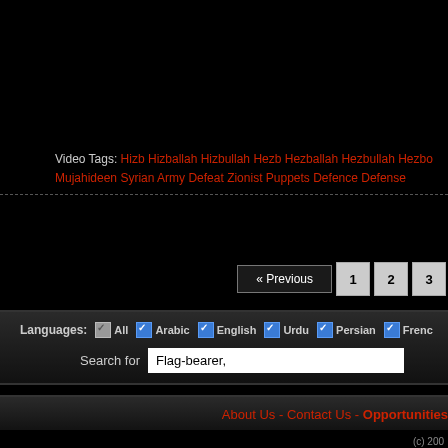Video Tags: Hizb Hizballah Hizbullah Hezb Hezballah Hezbullah Hezbo Mujahideen Syrian Army Defeat Zionist Puppets Defence Defense
« Previous  1  2  3
Languages: All  Arabic  English  Urdu  Persian  French
Search for Flag-bearer,
About Us - Contact Us - Opportunities
(c) 200
All rights rese